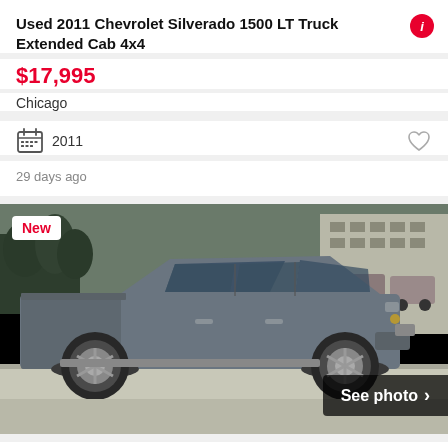Used 2011 Chevrolet Silverado 1500 LT Truck Extended Cab 4x4
$17,995
Chicago
2011
29 days ago
[Figure (photo): Side view of a gray 2019 Ram Pickup 1500 Classic Big Horn truck in a dealership lot, with a 'New' badge in the top-left corner and a 'See photo >' button overlay in the bottom-right]
2019 Ram Pickup 1500 Classic Big Horn
$39,999